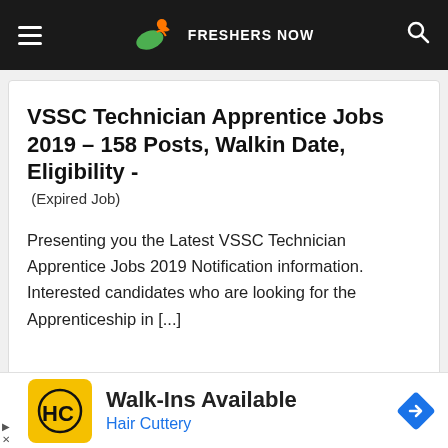FRESHERS NOW
VSSC Technician Apprentice Jobs 2019 – 158 Posts, Walkin Date, Eligibility - (Expired Job)
Presenting you the Latest VSSC Technician Apprentice Jobs 2019 Notification information. Interested candidates who are looking for the Apprenticeship in [...]
[Figure (infographic): Advertisement banner: Hair Cuttery Walk-Ins Available ad with yellow HC logo and blue navigation arrow icon]